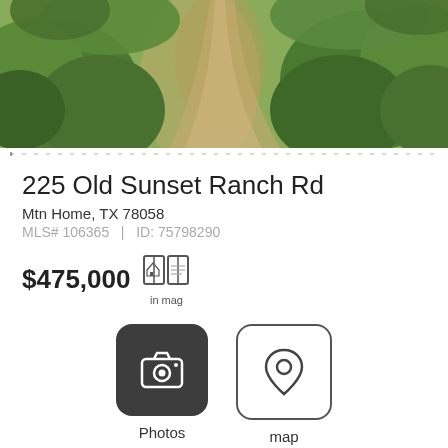[Figure (photo): Aerial view of green trees and brush with a dirt path, property landscape photo]
225 Old Sunset Ranch Rd
Mtn Home, TX 78058
MLS# 106365  |  ID: 75798290
$475,000  in mag
[Figure (other): Photos button - dark rounded square with camera icon]
[Figure (other): Map button - outlined rounded square with map pin icon]
Share this property